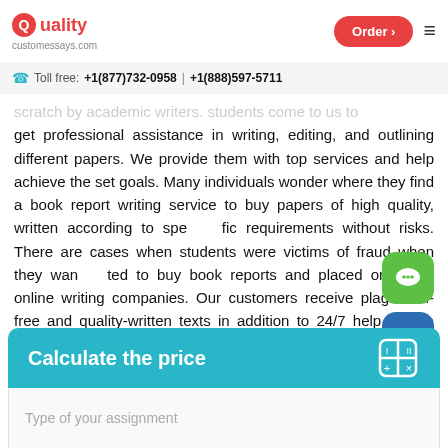Quality customessays.com | Order | Menu
Toll free: +1(877)732-0958 | +1(888)597-5711
...scratch by academic writers. Students come to us to get professional assistance in writing, editing, and outlining different papers. We provide them with top services and help achieve the set goals. Many individuals wonder where they find a book report writing service to buy papers of high quality, written according to specific requirements without risks. There are cases when students were victims of fraud when they wanted to buy book reports and placed orders at online writing companies. Our customers receive plagiarism-free and quality-written texts in addition to 24/7 help from a service that respects confidentiality and saves time.
Calculate the price